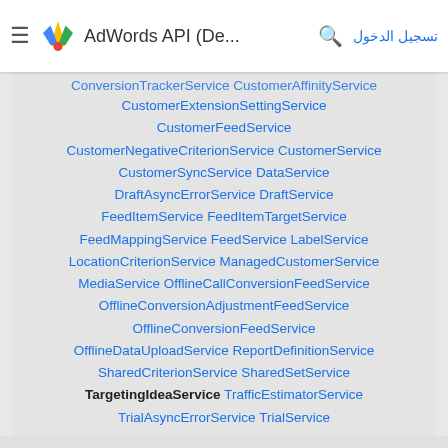AdWords API (De... تسجيل الدخول
ConversionTrackerService CustomerAffinityService
CustomerExtensionSettingService
CustomerFeedService
CustomerNegativeCriterionService CustomerService
CustomerSyncService DataService
DraftAsyncErrorService DraftService
FeedItemService FeedItemTargetService
FeedMappingService FeedService LabelService
LocationCriterionService ManagedCustomerService
MediaService OfflineCallConversionFeedService
OfflineConversionAdjustmentFeedService
OfflineConversionFeedService
OfflineDataUploadService ReportDefinitionService
SharedCriterionService SharedSetService
TargetingIdeaService TrafficEstimatorService
TrialAsyncErrorService TrialService